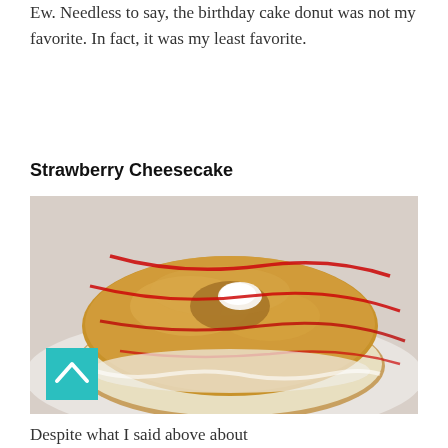Ew. Needless to say, the birthday cake donut was not my favorite. In fact, it was my least favorite.
Strawberry Cheesecake
[Figure (photo): Close-up photo of a strawberry cheesecake donut topped with graham cracker crumbs, white cream filling visible in the center, and red strawberry sauce drizzled across the top. A teal/turquoise back-to-top button with an upward chevron arrow is overlaid in the bottom-left corner of the image.]
Despite what I said above about